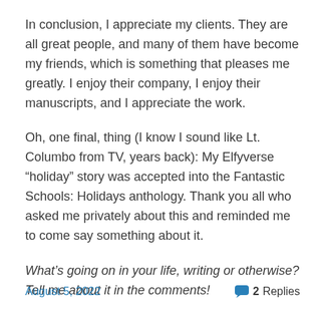In conclusion, I appreciate my clients. They are all great people, and many of them have become my friends, which is something that pleases me greatly. I enjoy their company, I enjoy their manuscripts, and I appreciate the work.
Oh, one final, thing (I know I sound like Lt. Columbo from TV, years back): My Elfyverse “holiday” story was accepted into the Fantastic Schools: Holidays anthology. Thank you all who asked me privately about this and reminded me to come say something about it.
What’s going on in your life, writing or otherwise? Tell me about it in the comments!
August 5, 2022    2 Replies